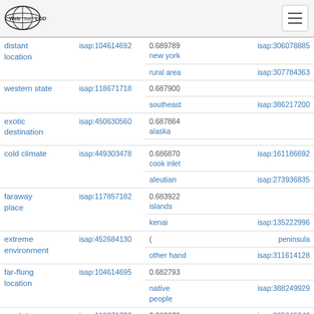Web isa LOD
| concept | isap id | score | related term | isap id |
| --- | --- | --- | --- | --- |
| distant location | isap:104614692 | 0.689789 | new york | isap:306078885 |
| western state | isap:118671718 | 0.687900 | rural area | isap:307784363 |
| exotic destination | isap:450630560 | 0.687864 | southeast | isap:386217200 |
|  |  |  | alaska |  |
| cold climate | isap:449303478 | 0.686870 | cook inlet | isap:161186692 |
| faraway place | isap:117857182 | 0.683922 | aleutian islands | isap:273936835 |
| extreme environment | isap:452684130 | ( | kenai peninsula | isap:135222996 |
| far-flung location | isap:104614695 | 0.682793 | other hand | isap:311614128 |
|  |  |  | native people | isap:388249929 |
| us state | isap:118671723 | 0.682679 | mainland and | isap:305645643 |